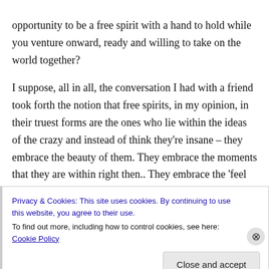opportunity to be a free spirit with a hand to hold while you venture onward, ready and willing to take on the world together?

I suppose, all in all, the conversation I had with a friend took forth the notion that free spirits, in my opinion, in their truest forms are the ones who lie within the ideas of the crazy and instead of think they're insane – they embrace the beauty of them. They embrace the moments that they are within right then.. They embrace the 'feel good'
Privacy & Cookies: This site uses cookies. By continuing to use this website, you agree to their use.
To find out more, including how to control cookies, see here: Cookie Policy
Close and accept